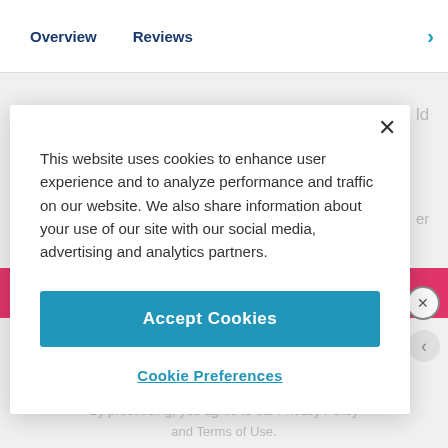Overview    Reviews
[Figure (screenshot): Cookie consent modal dialog on a webpage. Shows close X button, cookie policy text, Accept Cookies button, and Cookie Preferences link. Background shows partial webpage with pink button and advertisement text.]
This website uses cookies to enhance user experience and to analyze performance and traffic on our website. We also share information about your use of our site with our social media, advertising and analytics partners.
Accept Cookies
Cookie Preferences
ADVERTISEMENT
By proceeding, you agree to our Privacy Policy and Terms of Use.